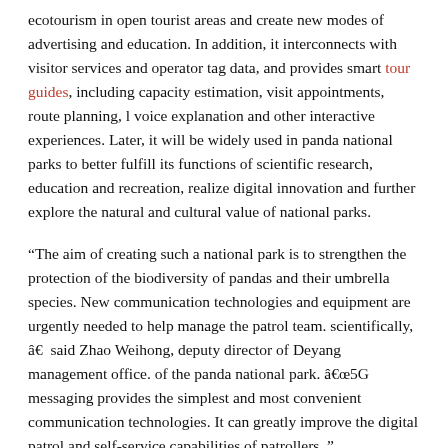ecotourism in open tourist areas and create new modes of advertising and education. In addition, it interconnects with visitor services and operator tag data, and provides smart tour guides, including capacity estimation, visit appointments, route planning, l voice explanation and other interactive experiences. Later, it will be widely used in panda national parks to better fulfill its functions of scientific research, education and recreation, realize digital innovation and further explore the natural and cultural value of national parks.
“The aim of creating such a national park is to strengthen the protection of the biodiversity of pandas and their umbrella species. New communication technologies and equipment are urgently needed to help manage the patrol team. scientifically, â€   said Zhao Weihong, deputy director of Deyang management office. of the panda national park. â€œ 5G messaging provides the simplest and most convenient communication technologies. It can greatly improve the digital patrol and self-service capabilities of patrollers.”